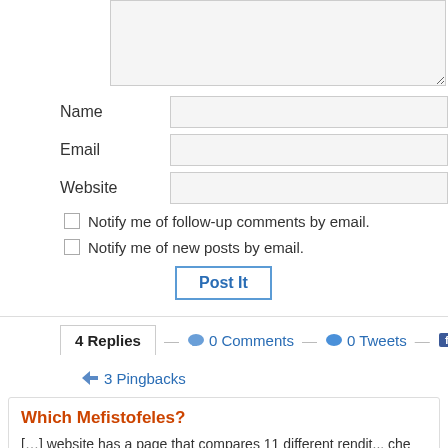[textarea - comment input]
Name
Email
Website
Notify me of follow-up comments by email.
Notify me of new posts by email.
Post It
4 Replies
0 Comments
0 Tweets
0 Face...
3 Pingbacks
Which Mefistofeles?
[…] website has a page that compares 11 different rendit... che nega" : https://medicine-opera.com/2014/03/so...rito-...